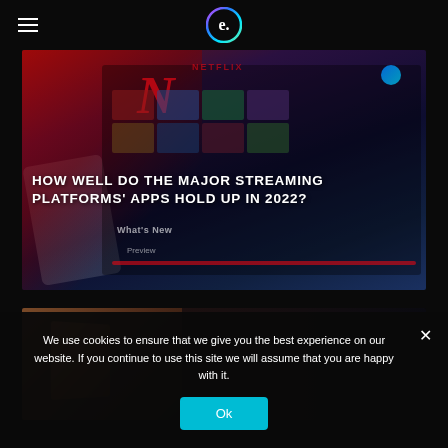e. [logo] with hamburger menu
[Figure (photo): Netflix app displayed on a tablet, showing the Netflix interface with movie tiles and 'What's New' section visible. Hero image for article about streaming platforms.]
HOW WELL DO THE MAJOR STREAMING PLATFORMS' APPS HOLD UP IN 2022?
[Figure (photo): Partial second article image showing a box in dark background]
We use cookies to ensure that we give you the best experience on our website. If you continue to use this site we will assume that you are happy with it.